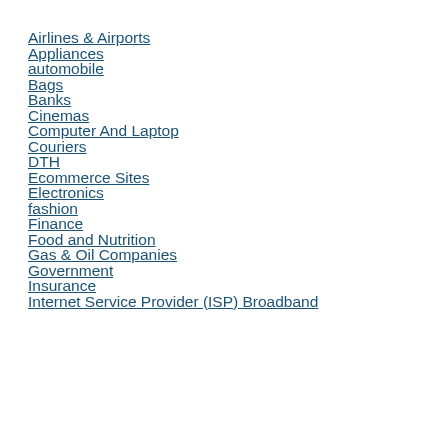Airlines & Airports
Appliances
automobile
Bags
Banks
Cinemas
Computer And Laptop
Couriers
DTH
Ecommerce Sites
Electronics
fashion
Finance
Food and Nutrition
Gas & Oil Companies
Government
Insurance
Internet Service Provider (ISP) Broadband